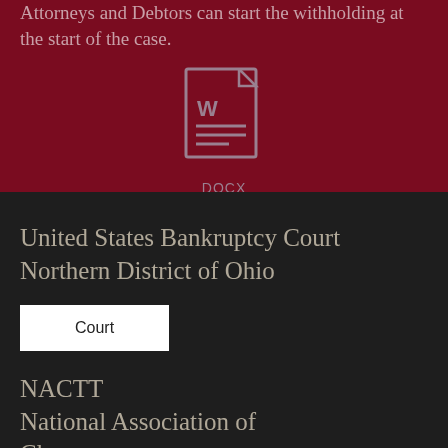Attorneys and Debtors can start the withholding at the start of the case.
[Figure (illustration): DOCX file icon (Word document icon) with a 'W' and horizontal lines representing text, on dark red background, with 'DOCX' label below]
United States Bankruptcy Court
Northern District of Ohio
Court
NACTT
National Association of Ch...